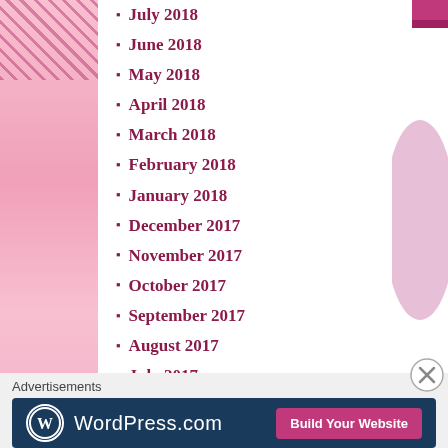July 2018
June 2018
May 2018
April 2018
March 2018
February 2018
January 2018
December 2017
November 2017
October 2017
September 2017
August 2017
July 2017
[Figure (other): Follow Fightmsdaily button with WordPress logo]
Advertisements
[Figure (other): WordPress.com Build Your Website advertisement banner]